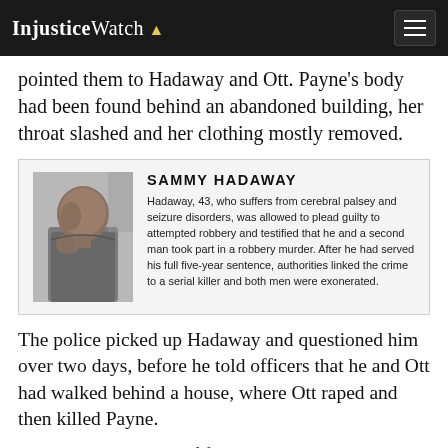InjusticeWatch
pointed them to Hadaway and Ott. Payne's body had been found behind an abandoned building, her throat slashed and her clothing mostly removed.
[Figure (infographic): Profile box for Sammy Hadaway with photo and descriptive text]
The police picked up Hadaway and questioned him over two days, before he told officers that he and Ott had walked behind a house, where Ott raped and then killed Payne.
A jury convicted Ott of first-degree murder and attempted robbery after Hadaway and the victim's